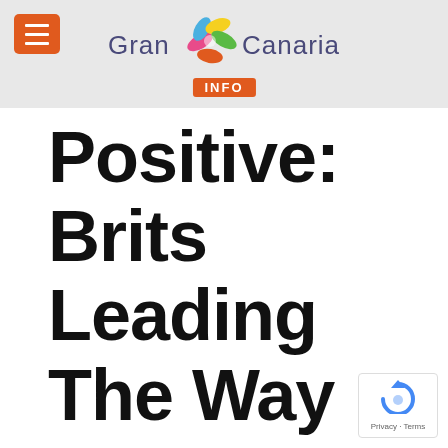[Figure (logo): Gran Canaria Info logo with colorful flower/leaf graphic, orange menu hamburger button in top left, orange INFO badge below logo text]
Positive: Brits Leading The Way
[Figure (logo): Google reCAPTCHA badge with Privacy and Terms links]